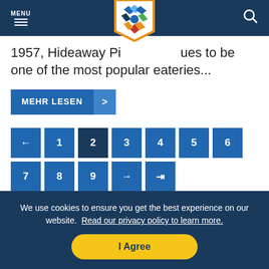MENU (navigation bar with hamburger icon, logo, and search icon)
1957, Hideaway Pizza continues to be one of the most popular eateries...
MEHR LESEN >
← 1 2 3 4 5 6 7 8 9 → →|
We use cookies to ensure you get the best experience on our website. Read our privacy policy to learn more. I Agree